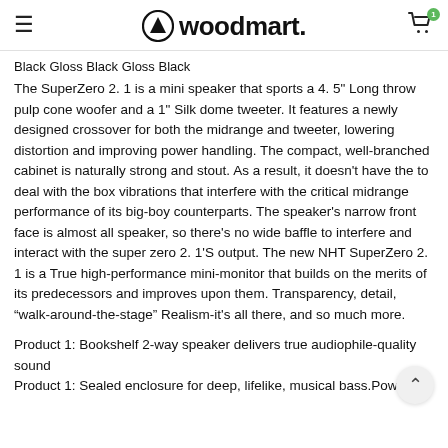woodmart.
Black Gloss Black Gloss Black
The SuperZero 2. 1 is a mini speaker that sports a 4. 5" Long throw pulp cone woofer and a 1" Silk dome tweeter. It features a newly designed crossover for both the midrange and tweeter, lowering distortion and improving power handling. The compact, well-branched cabinet is naturally strong and stout. As a result, it doesn't have the to deal with the box vibrations that interfere with the critical midrange performance of its big-boy counterparts. The speaker's narrow front face is almost all speaker, so there's no wide baffle to interfere and interact with the super zero 2. 1'S output. The new NHT SuperZero 2. 1 is a True high-performance mini-monitor that builds on the merits of its predecessors and improves upon them. Transparency, detail, “walk-around-the-stage" Realism-it's all there, and so much more.
Product 1: Bookshelf 2-way speaker delivers true audiophile-quality sound
Product 1: Sealed enclosure for deep, lifelike, musical bass.Power